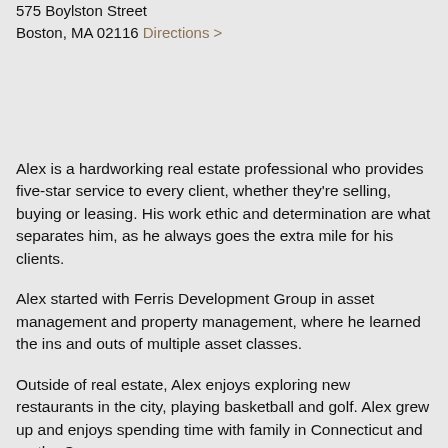575 Boylston Street
Boston, MA 02116  Directions >
Alex is a hardworking real estate professional who provides five-star service to every client, whether they're selling, buying or leasing. His work ethic and determination are what separates him, as he always goes the extra mile for his clients.
Alex started with Ferris Development Group in asset management and property management, where he learned the ins and outs of multiple asset classes.
Outside of real estate, Alex enjoys exploring new restaurants in the city, playing basketball and golf. Alex grew up and enjoys spending time with family in Connecticut and on the Cape.